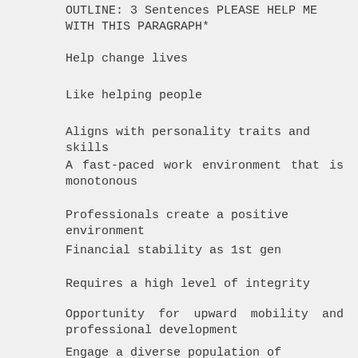OUTLINE: 3 Sentences  PLEASE HELP ME WITH THIS PARAGRAPH*
Help change lives
Like helping people
Aligns with personality traits and skills
A fast-paced work environment that is monotonous
Professionals create a positive environment
Financial stability as 1st gen
Requires a high level of integrity
Opportunity for upward mobility and professional development
Engage a diverse population of people/patients